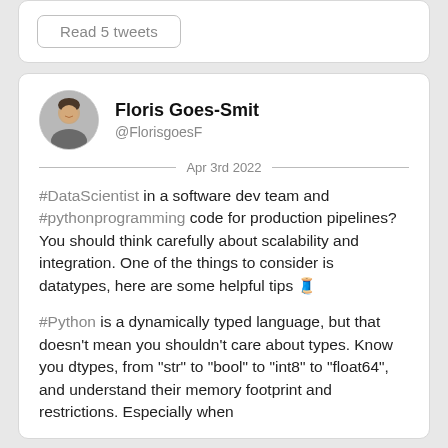[Figure (other): Read 5 tweets button at top of page]
[Figure (photo): Profile photo of Floris Goes-Smit, a man smiling, circular avatar]
Floris Goes-Smit
@FlorisgoesF
Apr 3rd 2022
#DataScientist in a software dev team and #pythonprogramming code for production pipelines? You should think carefully about scalability and integration. One of the things to consider is datatypes, here are some helpful tips 🧵
#Python is a dynamically typed language, but that doesn't mean you shouldn't care about types. Know you dtypes, from "str" to "bool" to "int8" to "float64", and understand their memory footprint and restrictions. Especially when
Read 8 tweets (partial, cut off at bottom)